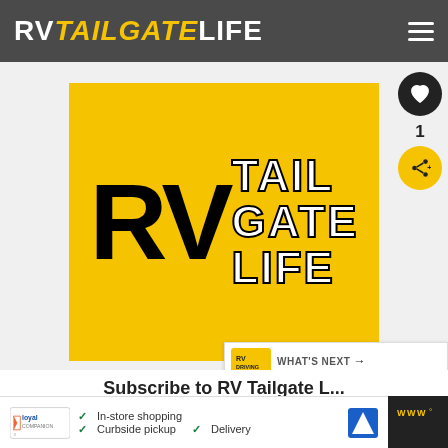RV TAILGATE LIFE
[Figure (logo): RV Tailgate Life logo on yellow/gold background with large black RV letters and white stacked TAIL GATE LIFE text]
Subscribe to RV Tailgate L...
Get updates on the latest posts and more from RV